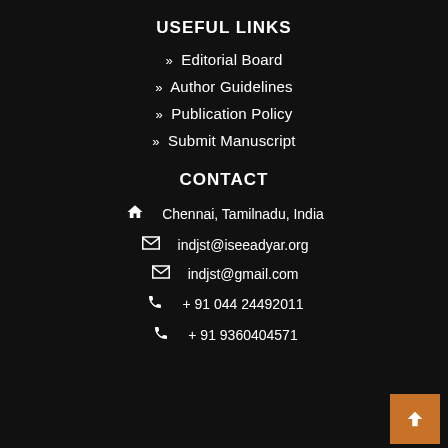USEFUL LINKS
» Editorial Board
» Author Guidelines
» Publication Policy
» Submit Manuscript
CONTACT
Chennai, Tamilnadu, India
indjst@iseeadyar.org
indjst@gmail.com
+ 91 044 24492011
+ 91 9360404571